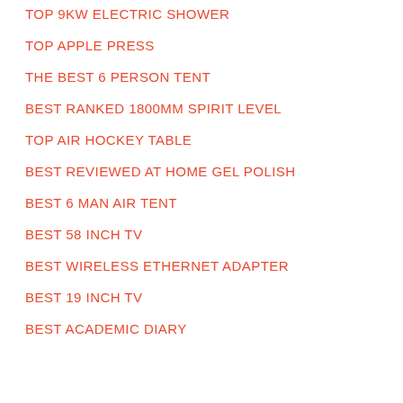TOP 9KW ELECTRIC SHOWER
TOP APPLE PRESS
THE BEST 6 PERSON TENT
BEST RANKED 1800MM SPIRIT LEVEL
TOP AIR HOCKEY TABLE
BEST REVIEWED AT HOME GEL POLISH
BEST 6 MAN AIR TENT
BEST 58 INCH TV
BEST WIRELESS ETHERNET ADAPTER
BEST 19 INCH TV
BEST ACADEMIC DIARY